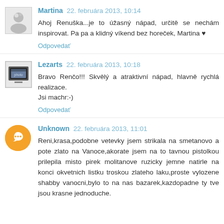Martina 22. februára 2013, 10:14
Ahoj Renuška...je to úžasný nápad, určitě se nechám inspirovat. Pa pa a klidný víkend bez horeček, Martina ♥
Odpovedať
Lezarts 22. februára 2013, 10:18
Bravo Renčo!!! Skvělý a atraktivní nápad, hlavně rychlá realizace.
Jsi machr:-)
Odpovedať
Unknown 22. februára 2013, 11:01
Reni,krasa,podobne vetevky jsem strikala na smetanovo a pote zlato na Vanoce,akorate jsem na to tavnou pistolkou prilepila misto pirek molitanove ruzicky jemne natirle na konci okvetnich listku troskou zlateho laku,proste vylozene shabby vanocni,bylo to na nas bazarek,kazdopadne ty tve jsou krasne jednoduche.